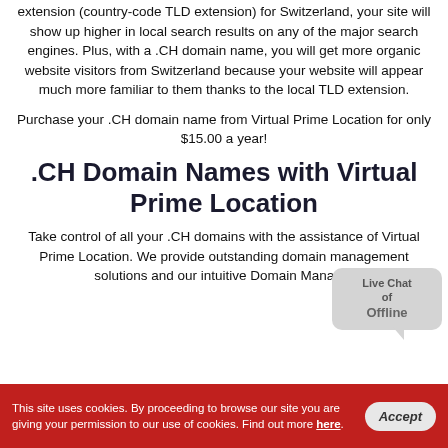extension (country-code TLD extension) for Switzerland, your site will show up higher in local search results on any of the major search engines. Plus, with a .CH domain name, you will get more organic website visitors from Switzerland because your website will appear much more familiar to them thanks to the local TLD extension.
Purchase your .CH domain name from Virtual Prime Location for only $15.00 a year!
.CH Domain Names with Virtual Prime Location
Take control of all your .CH domains with the assistance of Virtual Prime Location. We provide outstanding domain management solutions and our intuitive Domain Manager
This site uses cookies. By proceeding to browse our site you are giving your permission to our use of cookies. Find out more here.